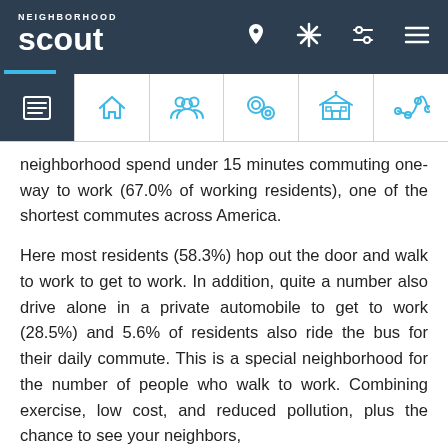NeighborhoodScout navigation header
neighborhood spend under 15 minutes commuting one-way to work (67.0% of working residents), one of the shortest commutes across America.
Here most residents (58.3%) hop out the door and walk to work to get to work. In addition, quite a number also drive alone in a private automobile to get to work (28.5%) and 5.6% of residents also ride the bus for their daily commute. This is a special neighborhood for the number of people who walk to work. Combining exercise, low cost, and reduced pollution, plus the chance to see your neighbors,